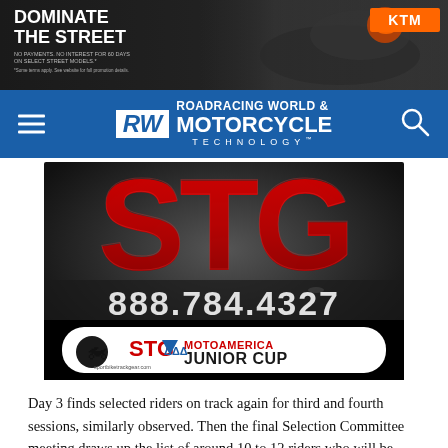[Figure (advertisement): KTM motorcycle advertisement banner: 'DOMINATE THE STREET - No payments. No interest for 60 days on select street models.' with motorcycle rider image and KTM logo in orange box.]
[Figure (logo): Roadracing World & Motorcycle Technology website header/navigation bar with hamburger menu, RW logo, and search icon on blue background.]
[Figure (advertisement): STG (Sportbike Track Gear) advertisement showing large red STG letters on dark background, phone number 888.784.4327, and STG MotoAmerica Junior Cup logo.]
Day 3 finds selected riders on track again for third and fourth sessions, similarly observed. Then the final Selection Committee meeting draws up the list of around 10 to 12 riders who will be similarly joining the Red Bull MotoGP Rookies Cup for 2020. The